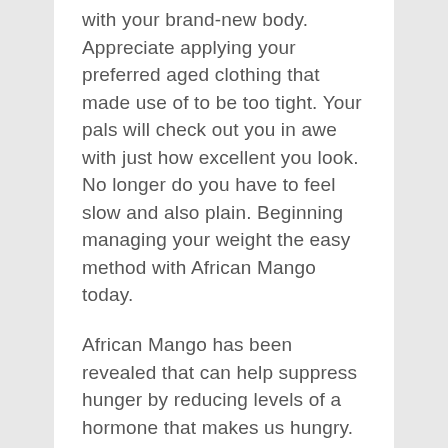with your brand-new body. Appreciate applying your preferred aged clothing that made use of to be too tight. Your pals will check out you in awe with just how excellent you look. No longer do you have to feel slow and also plain. Beginning managing your weight the easy method with African Mango today.
African Mango has been revealed that can help suppress hunger by reducing levels of a hormone that makes us hungry. It additionally tricks the hypothalamus gland (the brain's weight as well as hunger administration mechanism) into keeping the physical body's metabolic rate healthy.
According to the research, subjects that